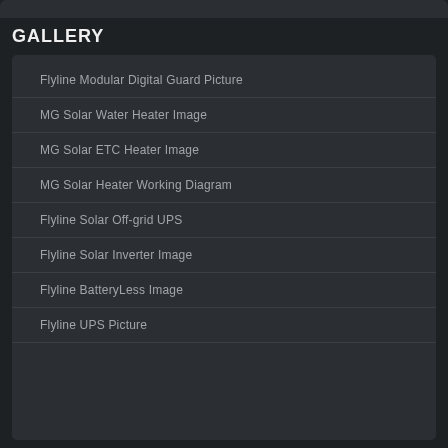GALLERY
Flyline Modular Digital Guard Picture
MG Solar Water Heater Image
MG Solar ETC Heater Image
MG Solar Heater Working Diagram
Flyline Solar Off-grid UPS
Flyline Solar Inverter Image
Flyline BatteryLess Image
Flyline UPS Picture